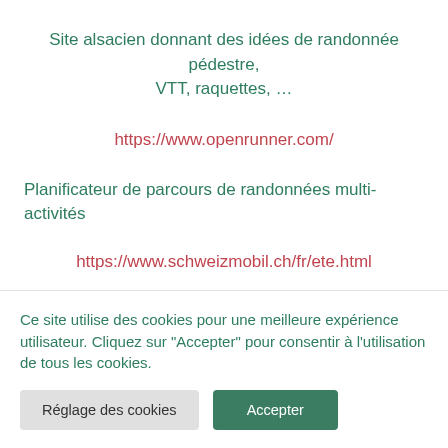Site alsacien donnant des idées de randonnée pédestre, VTT, raquettes, …
https://www.openrunner.com/
Planificateur de parcours de randonnées multi-activités
https://www.schweizmobil.ch/fr/ete.html
Le réseau pour la mobilité douce en Suisse
Ce site utilise des cookies pour une meilleure expérience utilisateur. Cliquez sur "Accepter" pour consentir à l'utilisation de tous les cookies.
Réglage des cookies
Accepter